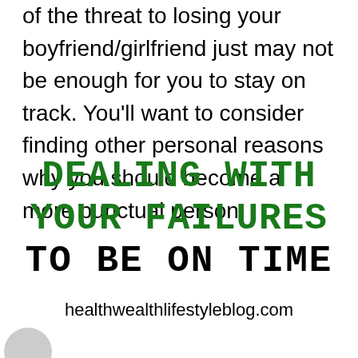of the threat to losing your boyfriend/girlfriend just may not be enough for you to stay on track. You'll want to consider finding other personal reasons why you should become a more punctual person.
DEALING WITH YOUR FAILURES TO BE ON TIME
healthwealthlifestyleblog.com
[Figure (photo): Partial image at bottom left corner, appears to show a person or object, only partially visible]